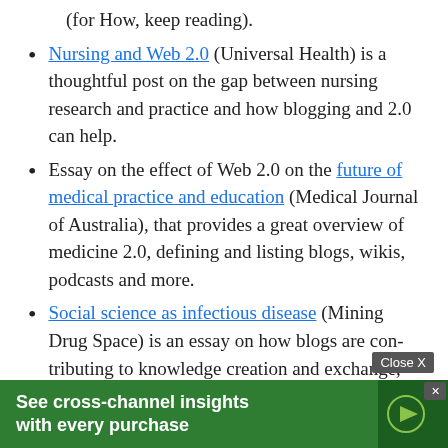(for How, keep reading).
Nursing and Web 2.0 (Universal Health) is a thoughtful post on the gap between nursing research and practice and how blogging and 2.0 can help.
Essay on the effect of Web 2.0 on the future of medical practice and education (Medical Journal of Australia), that provides a great overview of medicine 2.0, defining and listing blogs, wikis, podcasts and more.
Social science as infectious disease (Mining Drug Space) is an essay on how blogs are contributing to knowledge creation and exchange, and includes the writer's [ions